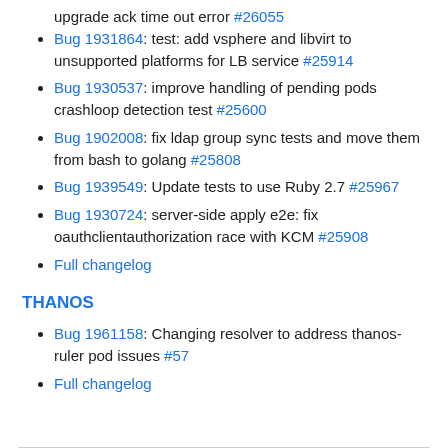upgrade ack time out error #26055
Bug 1931864: test: add vsphere and libvirt to unsupported platforms for LB service #25914
Bug 1930537: improve handling of pending pods crashloop detection test #25600
Bug 1902008: fix ldap group sync tests and move them from bash to golang #25808
Bug 1939549: Update tests to use Ruby 2.7 #25967
Bug 1930724: server-side apply e2e: fix oauthclientauthorization race with KCM #25908
Full changelog
THANOS
Bug 1961158: Changing resolver to address thanos-ruler pod issues #57
Full changelog